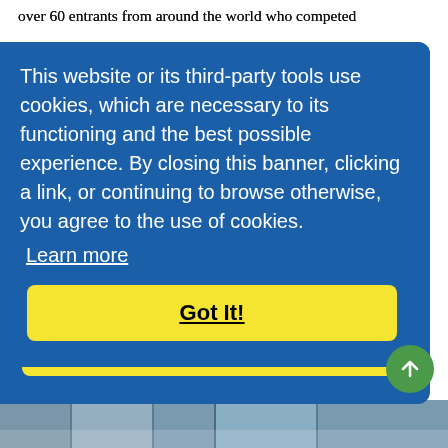over 60 entrants from around the world who competed
This website or its third-party tools use cookies, which are necessary to its functioning and the best possible experience. By closing this banner, clicking a link, or continuing to browse otherwise, you agree to the use of cookies.
Learn more
Got It!
enormous and the publicity for Nevis, we couldn’t pay for this type of publicity,” he said.
Mr. Brantley thanked Mr. McCormack and noted that he looked forward to what the partnership between the Nevis Tourism Authority, the St. Kitts and Nevis Triathlon Federation in collaboration with “Macca” would bring to Nevis in the near future.
[Figure (photo): Partial view of a photo strip at the bottom of the page showing what appears to be a waterfront or harbor scene.]